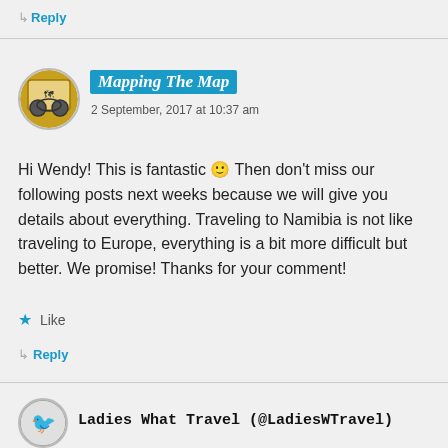↳ Reply
[Figure (photo): Circular avatar logo for Mapping The Map blog with cartoon bike and map imagery on yellow/brown background]
Mapping The Map
2 September, 2017 at 10:37 am
Hi Wendy! This is fantastic 🙂 Then don't miss our following posts next weeks because we will give you details about everything. Traveling to Namibia is not like traveling to Europe, everything is a bit more difficult but better. We promise! Thanks for your comment!
★ Like
↳ Reply
[Figure (photo): Circular avatar logo for Ladies What Travel with bird imagery]
Ladies What Travel (@LadiesWTravel)